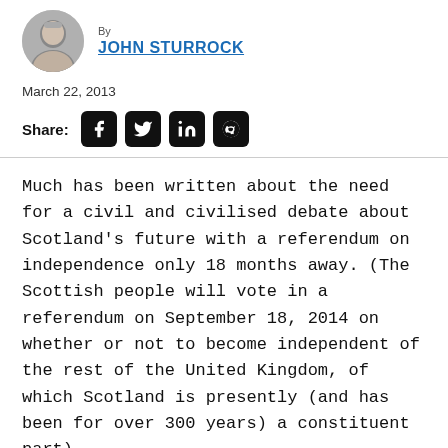By JOHN STURROCK
March 22, 2013
Share: [Facebook] [Twitter] [LinkedIn] [Reddit]
Much has been written about the need for a civil and civilised debate about Scotland’s future with a referendum on independence only 18 months away. (The Scottish people will vote in a referendum on September 18, 2014 on whether or not to become independent of the rest of the United Kingdom, of which Scotland is presently (and has been for over 300 years) a constituent part).
However, all too often, the protagonists use language which seems (unconsciously or deliberately) designed to provoke anger, inflame